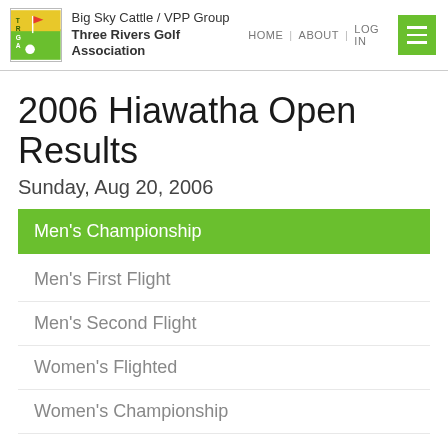Big Sky Cattle / VPP Group | Three Rivers Golf Association | HOME | ABOUT | LOG IN
2006 Hiawatha Open Results
Sunday, Aug 20, 2006
Men's Championship
Men's First Flight
Men's Second Flight
Women's Flighted
Women's Championship
Men's Fifth Flight